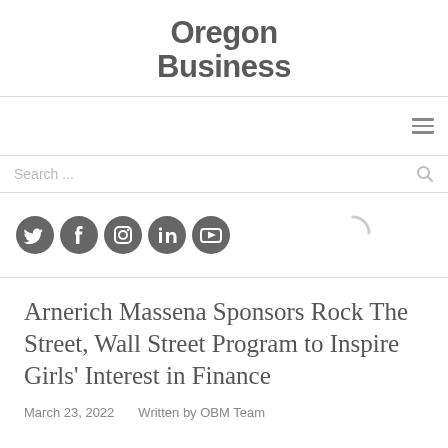Oregon Business
[Figure (other): Navigation hamburger menu icon (three horizontal lines)]
Search ...
[Figure (other): Social media icons: Twitter, Facebook, Instagram, LinkedIn, YouTube]
Arnerich Massena Sponsors Rock The Street, Wall Street Program to Inspire Girls' Interest in Finance
March 23, 2022   Written by OBM Team